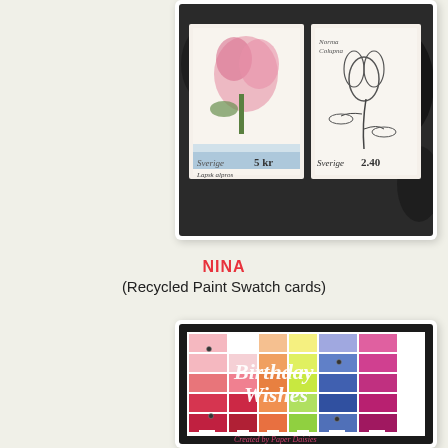[Figure (photo): Postage stamps (Sverige/Sweden stamps with botanical illustrations of alpine flowers including Lapsk alpros) arranged against a dark pine cone textured background]
NINA
(Recycled Paint Swatch cards)
[Figure (photo): A handmade birthday card using recycled paint swatch cards arranged in a rainbow pattern with 'Birthday Wishes' written in white script lettering overlaid. Created by Paper Daisies. Small rhinestone embellishments visible. Black border frame.]